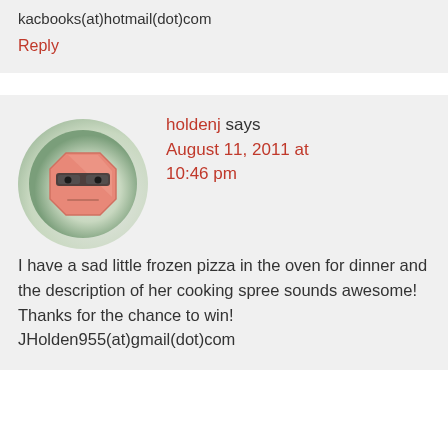kacbooks(at)hotmail(dot)com
Reply
holdenj says August 11, 2011 at 10:46 pm
I have a sad little frozen pizza in the oven for dinner and the description of her cooking spree sounds awesome! Thanks for the chance to win! JHolden955(at)gmail(dot)com
[Figure (illustration): Avatar icon: a cartoon face resembling a stop-sign shaped character with sunglasses, on a green circular background]